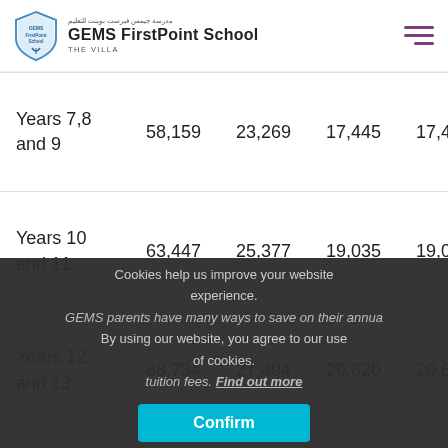GEMS FirstPoint School THE VILLA
| Year Group | Col1 | Col2 | Col3 | Col4 |
| --- | --- | --- | --- | --- |
| Years 7,8 and 9 | 58,159 | 23,269 | 17,445 | 17,4... |
| Years 10 and 11 | 63,447 | 25,377 | 19,035 | 19,0... |
| Years 12 and 13 | 68,734 | 27,494 | 20,620 | 20,6... |
Cookies help us improve your website experience. By using our website, you agree to our use of cookies.
GEMS parents have many ways to save on their annual tuition fees. Find out more
Confirm